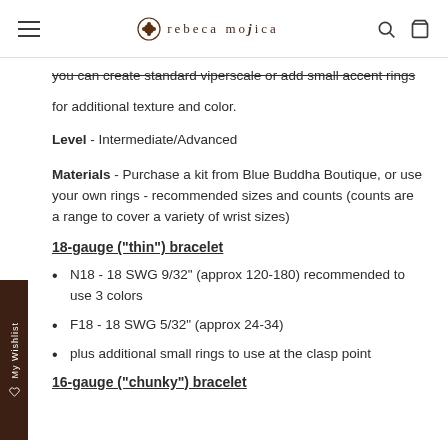rebeca mojica
you can create standard viperscale or add small accent rings for additional texture and color.
Level - Intermediate/Advanced
Materials - Purchase a kit from Blue Buddha Boutique, or use your own rings - recommended sizes and counts (counts are a range to cover a variety of wrist sizes)
18-gauge ("thin") bracelet
N18 - 18 SWG 9/32" (approx 120-180) recommended to use 3 colors
F18 - 18 SWG 5/32" (approx 24-34)
plus additional small rings to use at the clasp point
16-gauge ("chunky") bracelet